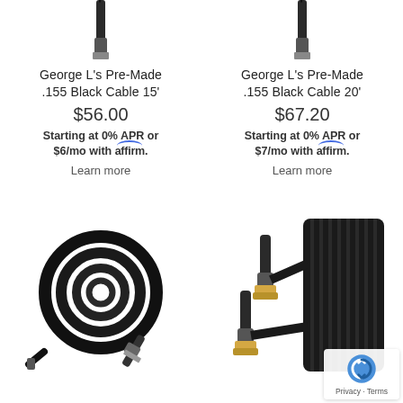[Figure (photo): Partial view of a cable connector/plug against white background, top-left product]
[Figure (photo): Partial view of a cable connector/plug against white background, top-right product]
George L's Pre-Made .155 Black Cable 15'
$56.00
Starting at 0% APR or $6/mo with affirm. Learn more
George L's Pre-Made .155 Black Cable 20'
$67.20
Starting at 0% APR or $7/mo with affirm. Learn more
[Figure (photo): Coiled black instrument cable with metal plugs, bottom-left product]
[Figure (photo): Two black cable plugs with striped cable bundle, bottom-right product]